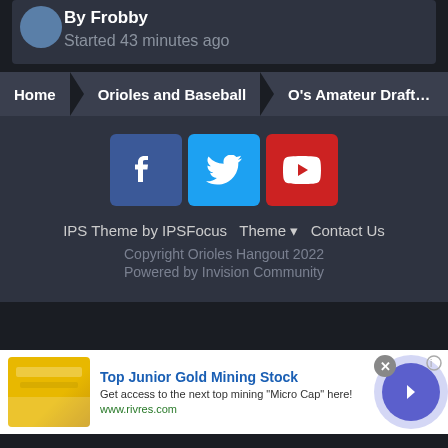By Frobby
Started 43 minutes ago
Home > Orioles and Baseball > O's Amateur Draft and Internatio...
[Figure (screenshot): Footer section with Facebook, Twitter, YouTube social icons; IPS Theme by IPSFocus, Theme dropdown, Contact Us links; Copyright Orioles Hangout 2022; Powered by Invision Community]
[Figure (screenshot): Advertisement banner: Top Junior Gold Mining Stock - Get access to the next top mining Micro Cap here! www.rivres.com with gold bar image and arrow button]